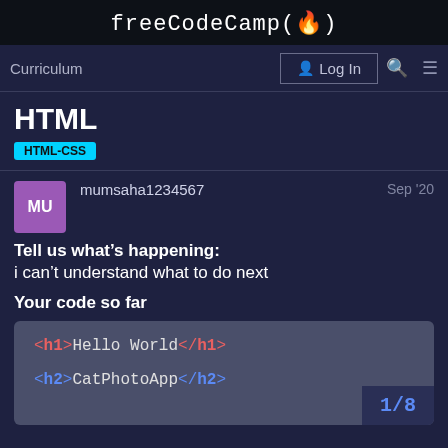freeCodeCamp(🔥)
Curriculum | Log In
HTML
HTML-CSS
mumsaha1234567  Sep '20
Tell us what's happening:
i can't understand what to do next

Your code so far
[Figure (screenshot): Code block showing HTML: <h1>Hello World</h1> and <h2>CatPhotoApp</h2>]
1/8